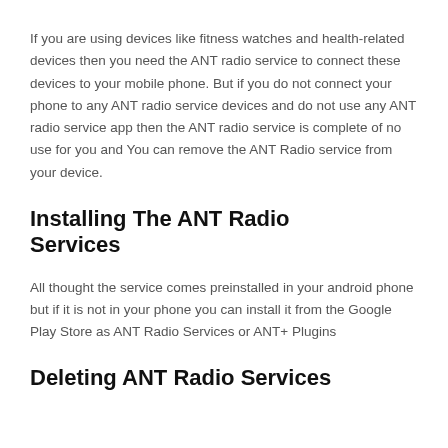If you are using devices like fitness watches and health-related devices then you need the ANT radio service to connect these devices to your mobile phone. But if you do not connect your phone to any ANT radio service devices and do not use any ANT radio service app then the ANT radio service is complete of no use for you and You can remove the ANT Radio service from your device.
Installing The ANT Radio Services
All thought the service comes preinstalled in your android phone but if it is not in your phone you can install it from the Google Play Store as ANT Radio Services or ANT+ Plugins
Deleting ANT Radio Services